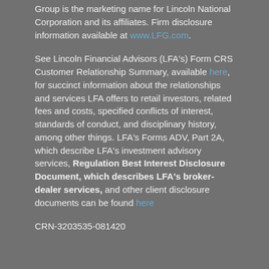Group is the marketing name for Lincoln National Corporation and its affiliates. Firm disclosure information available at www.LFG.com.
See Lincoln Financial Advisors (LFA's) Form CRS Customer Relationship Summary, available here, for succinct information about the relationships and services LFA offers to retail investors, related fees and costs, specified conflicts of interest, standards of conduct, and disciplinary history, among other things. LFA's Forms ADV, Part 2A, which describe LFA's investment advisory services, Regulation Best Interest Disclosure Document, which describes LFA's broker-dealer services, and other client disclosure documents can be found here
CRN-3203535-081420